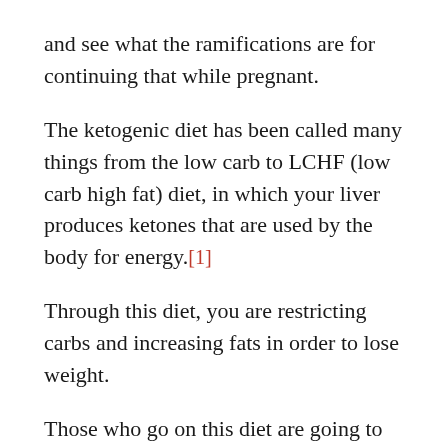and see what the ramifications are for continuing that while pregnant.
The ketogenic diet has been called many things from the low carb to LCHF (low carb high fat) diet, in which your liver produces ketones that are used by the body for energy.[1]
Through this diet, you are restricting carbs and increasing fats in order to lose weight.
Those who go on this diet are going to lose weight, control their blood sugar, increase their energy, focus better, and help regulate their cholesterol and blood pressure among other benefits.[2]